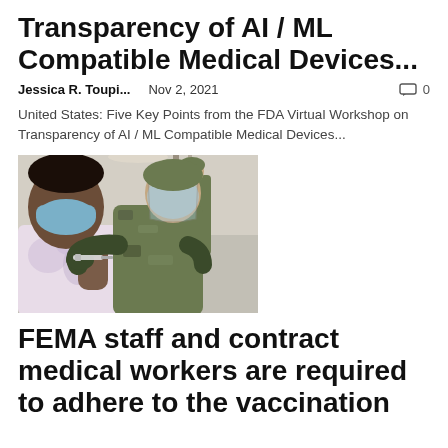Transparency of AI / ML Compatible Medical Devices...
Jessica R. Toupi...   Nov 2, 2021   💬 0
United States: Five Key Points from the FDA Virtual Workshop on Transparency of AI / ML Compatible Medical Devices...
[Figure (photo): A military medic in camouflage uniform and face shield administers a vaccine to a woman wearing a mask and tie-dye shirt, in a medical tent setting.]
FEMA staff and contract medical workers are required to adhere to the vaccination